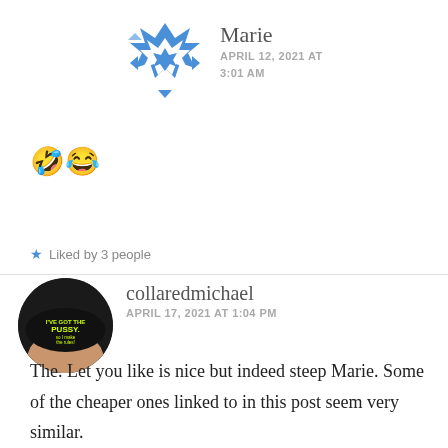[Figure (illustration): Blue and white geometric star/diamond pattern avatar for user Marie]
Marie
APRIL 12, 2021 AT 3:01 AM
🤣😂
★ Liked by 3 people
[Figure (photo): Circular avatar photo for user collaredmichael showing black underwear with yellow text]
collaredmichael
APRIL 17, 2021 AT 1:04 PM
The. Let you like is nice but indeed steep Marie. Some of the cheaper ones linked to in this post seem very similar.